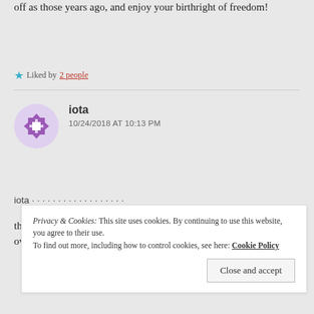off as those years ago, and enjoy your birthright of freedom!
★ Liked by 2 people
iota
10/24/2018 AT 10:13 PM
there ARE NPC's (Organic Portals, Background People) etc. i'd say over half if not 2/3 of population
Privacy & Cookies: This site uses cookies. By continuing to use this website, you agree to their use.
To find out more, including how to control cookies, see here: Cookie Policy
Close and accept